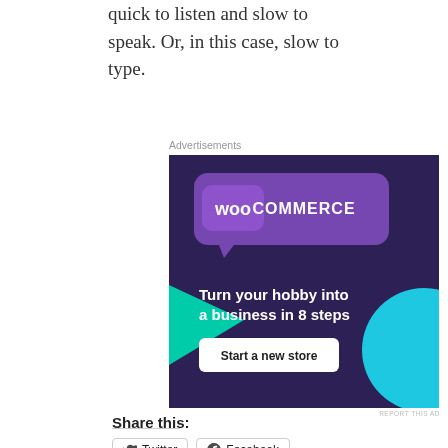quick to listen and slow to speak. Or, in this case, slow to type.
Advertisements
[Figure (screenshot): WooCommerce advertisement banner: dark purple background with WooCommerce logo (speech bubble with 'WOO COMMERCE'), teal triangle shape on left, cyan circle on right, text 'Turn your hobby into a business in 8 steps', white button 'Start a new store']
REPORT THIS AD
Share this:
Twitter
Facebook